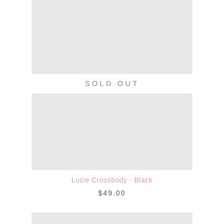[Figure (photo): Product image placeholder (top) - light gray rectangle]
SOLD OUT
[Figure (photo): Product image placeholder (main) - light gray rectangle for Lucie Crossbody - Black]
Lucie Crossbody - Black
$49.00
[Figure (photo): Product image placeholder (bottom partial) - light gray rectangle]